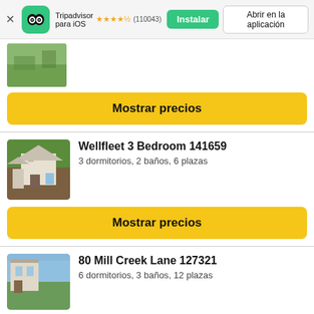[Figure (screenshot): Tripadvisor app banner with owl logo, star rating 4.5 (110043 reviews), Instalar and Abrir en la aplicación buttons]
[Figure (photo): Partial thumbnail of a green lawn/garden property]
Mostrar precios
Wellfleet 3 Bedroom 141659
3 dormitorios, 2 baños, 6 plazas
Mostrar precios
80 Mill Creek Lane 127321
6 dormitorios, 3 baños, 12 plazas